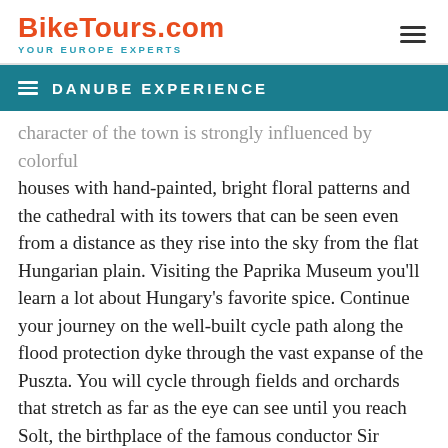BikeTours.com — YOUR EUROPE EXPERTS
DANUBE EXPERIENCE
character of the town is strongly influenced by colorful houses with hand-painted, bright floral patterns and the cathedral with its towers that can be seen even from a distance as they rise into the sky from the flat Hungarian plain. Visiting the Paprika Museum you'll learn a lot about Hungary's favorite spice. Continue your journey on the well-built cycle path along the flood protection dyke through the vast expanse of the Puszta. You will cycle through fields and orchards that stretch as far as the eye can see until you reach Solt, the birthplace of the famous conductor Sir George Solti. Vecsey Castle and the library with some 34,000 books are especially worth seeing.
Day 11: Danube Bend – Esztergom (27 miles / 43 km)